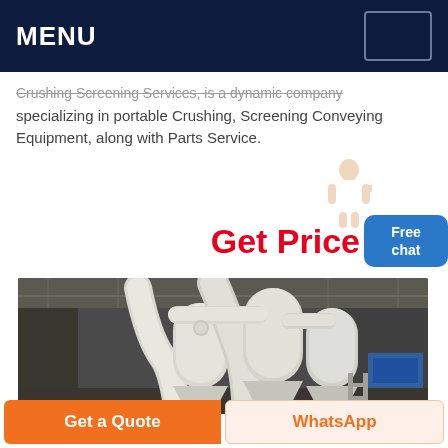MENU
Crushing Screening Services, is a dynamic company specializing in portable Crushing, Screening Conveying Equipment, along with Parts Service.
Get Price
[Figure (photo): Industrial dust collection / cyclone separator equipment inside a large warehouse facility. Multiple large white cylindrical cyclone units with connecting pipes visible.]
Get a Quote
WhatsApp